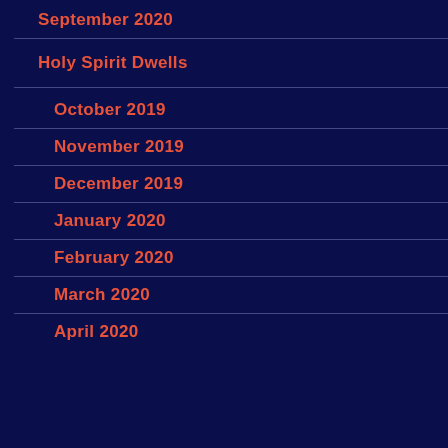September 2020
Holy Spirit Dwells
October 2019
November 2019
December 2019
January 2020
February 2020
March 2020
April 2020